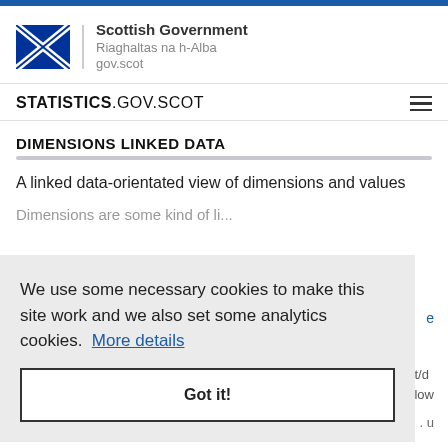[Figure (logo): Scottish Government logo with Saltire flag, divider, and text: Scottish Government, Riaghaltas na h-Alba, gov.scot]
STATISTICS.GOV.SCOT
DIMENSIONS LINKED DATA
A linked data-orientated view of dimensions and values
We use some necessary cookies to make this site work and we also set some analytics cookies. More details
Got it!